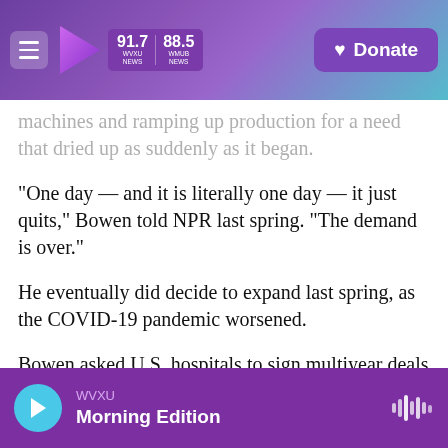91.7 WVXU NEWS | 88.5 WHUB NEWS | Donate
machines and ramping up production for a need that dried up as suddenly as it began.
"One day — and it is literally one day — it just quits," Bowen told NPR last spring. "The demand is over."
He eventually did decide to expand last spring, as the COVID-19 pandemic worsened.
Bowen asked U.S. hospitals to sign multiyear deals for N95s. That gave him the funds to build nine new N95 machines, some of which are still coming online. The factory now makes 80 times more
WVXU Morning Edition